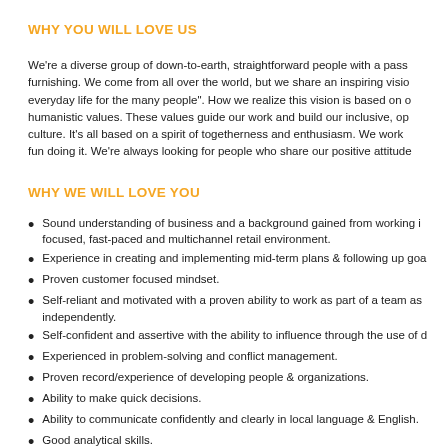WHY YOU WILL LOVE US
We're a diverse group of down-to-earth, straightforward people with a passion for furnishing. We come from all over the world, but we share an inspiring vision: "to create a better everyday life for the many people". How we realize this vision is based on our shared values and humanistic values. These values guide our work and build our inclusive, open and honest work culture. It's all based on a spirit of togetherness and enthusiasm. We work hard, but we have fun doing it. We're always looking for people who share our positive attitude.
WHY WE WILL LOVE YOU
Sound understanding of business and a background gained from working in a customer focused, fast-paced and multichannel retail environment.
Experience in creating and implementing mid-term plans & following up goals.
Proven customer focused mindset.
Self-reliant and motivated with a proven ability to work as part of a team as well as independently.
Self-confident and assertive with the ability to influence through the use of data.
Experienced in problem-solving and conflict management.
Proven record/experience of developing people & organizations.
Ability to make quick decisions.
Ability to communicate confidently and clearly in local language & English.
Good analytical skills.
WHAT YOU WILL BE DOING DAY TO DAY